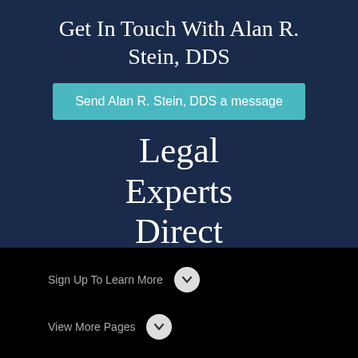Get In Touch With Alan R. Stein, DDS
Send Alan R. Stein, DDS a message
Legal Experts Direct
Sign Up To Learn More
View More Pages